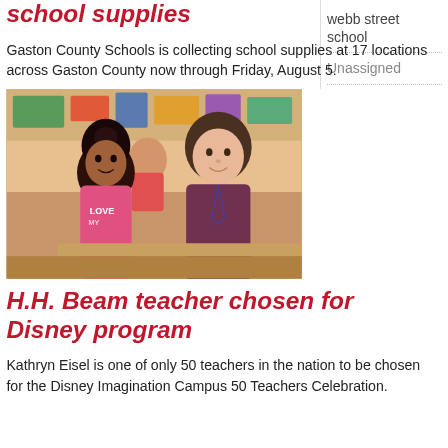school supplies
Gaston County Schools is collecting school supplies at 17 locations across Gaston County now through Friday, August 5.
[Figure (photo): A young girl in a pink shirt and a female teacher smiling together in a classroom setting.]
H.H. Beam teacher chosen for Disney program
Kathryn Eisel is one of only 50 teachers in the nation to be chosen for the Disney Imagination Campus 50 Teachers Celebration.
webb street school
Unassigned